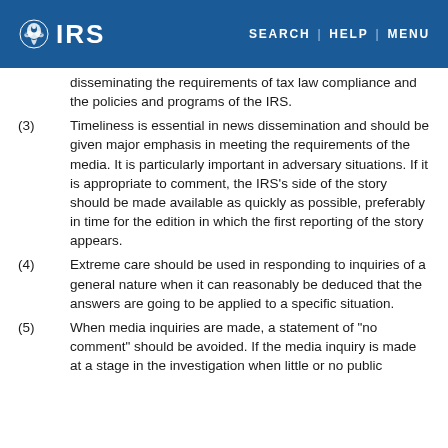IRS | SEARCH | HELP | MENU
disseminating the requirements of tax law compliance and the policies and programs of the IRS.
(3) Timeliness is essential in news dissemination and should be given major emphasis in meeting the requirements of the media. It is particularly important in adversary situations. If it is appropriate to comment, the IRS's side of the story should be made available as quickly as possible, preferably in time for the edition in which the first reporting of the story appears.
(4) Extreme care should be used in responding to inquiries of a general nature when it can reasonably be deduced that the answers are going to be applied to a specific situation.
(5) When media inquiries are made, a statement of "no comment" should be avoided. If the media inquiry is made at a stage in the investigation when little or no public